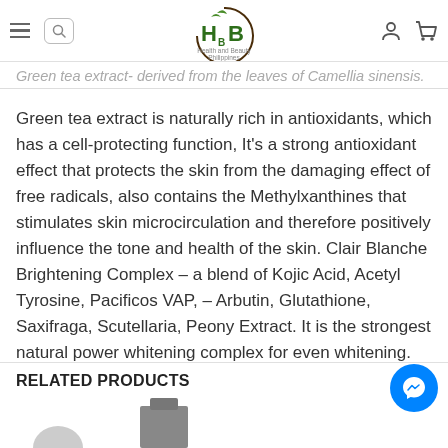Health and Beauty Philippines — navigation bar with hamburger menu, search, logo, user icon, cart icon
Green tea extract- derived from the leaves of Camellia sinensis.
Green tea extract is naturally rich in antioxidants, which has a cell-protecting function, It's a strong antioxidant effect that protects the skin from the damaging effect of free radicals, also contains the Methylxanthines that stimulates skin microcirculation and therefore positively influence the tone and health of the skin. Clair Blanche Brightening Complex – a blend of Kojic Acid, Acetyl Tyrosine, Pacificos VAP, – Arbutin, Glutathione, Saxifraga, Scutellaria, Peony Extract. It is the strongest natural power whitening complex for even whitening.
RELATED PRODUCTS
[Figure (screenshot): Partial product thumbnails row at bottom of page]
[Figure (illustration): Blue circular Messenger chat button in bottom right corner]